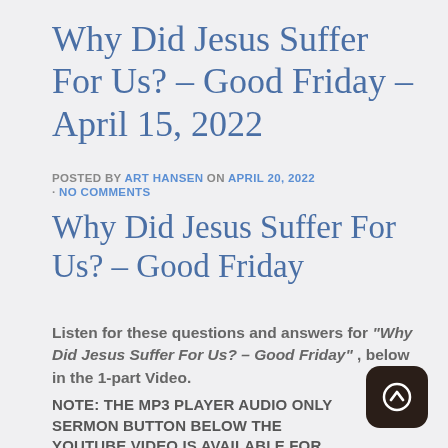Why Did Jesus Suffer For Us? – Good Friday – April 15, 2022
POSTED BY ART HANSEN ON APRIL 20, 2022 · NO COMMENTS
Why Did Jesus Suffer For Us? – Good Friday
Listen for these questions and answers for "Why Did Jesus Suffer For Us? – Good Friday", below in the 1-part Video.
NOTE: THE MP3 PLAYER AUDIO ONLY SERMON BUTTON BELOW THE YOUTUBE VIDEO IS AVAILABLE FOR WHEN YOU